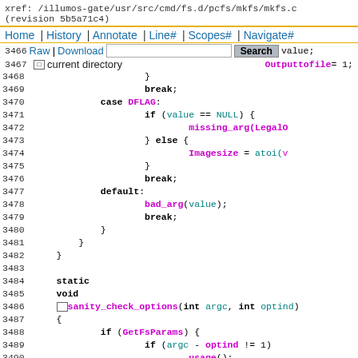xref: /illumos-gate/usr/src/cmd/fs.d/pcfs/mkfs/mkfs.c (revision 5b5a71c4)
Home | History | Annotate | Line# | Scopes# | Navigate#
Raw | Download | [search box] Search  value;
current directory   Outputtofile = 1;
[Figure (screenshot): Source code viewer showing C code lines 3468-3490 from mkfs.c, with syntax highlighting. Keywords in black bold, identifiers in magenta/purple, variables in cyan. Shows a switch statement with cases DFLAG and default, followed by sanity_check_options function definition.]